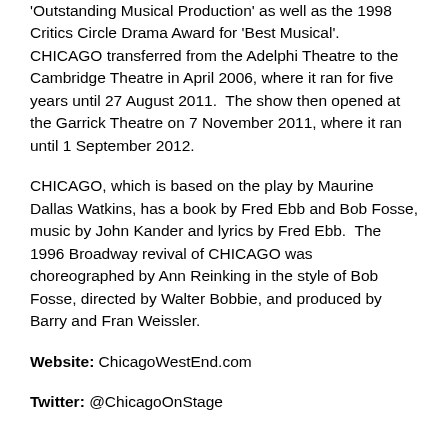'Outstanding Musical Production' as well as the 1998 Critics Circle Drama Award for 'Best Musical'. CHICAGO transferred from the Adelphi Theatre to the Cambridge Theatre in April 2006, where it ran for five years until 27 August 2011. The show then opened at the Garrick Theatre on 7 November 2011, where it ran until 1 September 2012.
CHICAGO, which is based on the play by Maurine Dallas Watkins, has a book by Fred Ebb and Bob Fosse, music by John Kander and lyrics by Fred Ebb. The 1996 Broadway revival of CHICAGO was choreographed by Ann Reinking in the style of Bob Fosse, directed by Walter Bobbie, and produced by Barry and Fran Weissler.
Website: ChicagoWestEnd.com
Twitter: @ChicagoOnStage